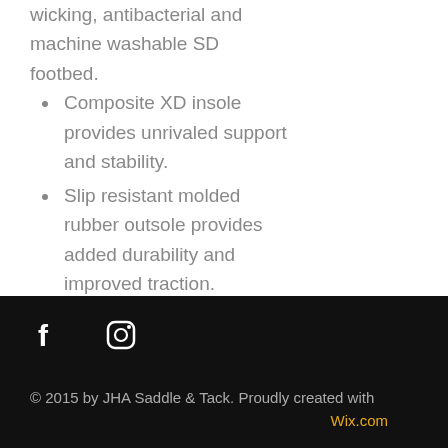wicking, antibacterial and machine washable SD footbed.
Composite XD insole provides unrivaled support and stability.
Slip resistant molded rubber outsole provides added durability and improved traction.
Sizes: 7, 7.5, 8, 8.5, 9, 9.5, 10, 10.5, 11, 11.5, 12, 13, 14
[Figure (other): Social share icons: WhatsApp, Facebook, Twitter, Pinterest]
© 2015 by JHA Saddle & Tack. Proudly created with Wix.com